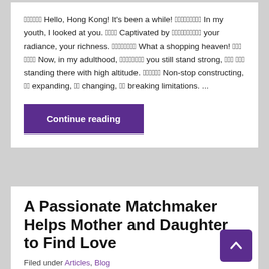香港! Hello, Hong Kong! It's been a while! 好幾年了 In my youth, I looked at you. 迷倒 Captivated by 你的燦爛 your radiance, your richness. 購物天堂 What a shopping heaven! 旺角 銅鑼灣 Now, in my adulthood, 依然屹立 you still stand strong, 高聳 入雲 standing there with high altitude. 不停地 Non-stop constructing, 不停 expanding, 不停 changing, 不停 breaking limitations. ...
Continue reading
A Passionate Matchmaker Helps Mother and Daughter to Find Love
Filed under Articles, Blog
Last weekend in Taiwan, Hellen helped two young couples tie the knot in the same day. One of the two brides is a young lady called Eva. Her story is a unique one. Hellen has known